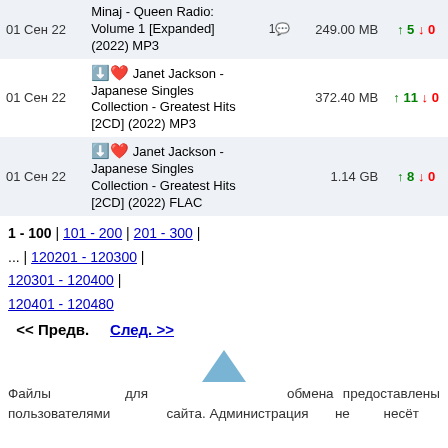| Date | Title | Comments | Size | Seeds |
| --- | --- | --- | --- | --- |
| 01 Сен 22 | ⬇️❤️ Minaj - Queen Radio: Volume 1 [Expanded] (2022) MP3 | 1💬 | 249.00 MB | ↑5↓0 |
| 01 Сен 22 | ⬇️❤️ Janet Jackson - Japanese Singles Collection - Greatest Hits [2CD] (2022) MP3 |  | 372.40 MB | ↑11↓0 |
| 01 Сен 22 | ⬇️❤️ Janet Jackson - Japanese Singles Collection - Greatest Hits [2CD] (2022) FLAC |  | 1.14 GB | ↑8↓0 |
1 - 100 | 101 - 200 | 201 - 300 | ... | 120201 - 120300 | 120301 - 120400 | 120401 - 120480
<< Предв.    След. >>
[Figure (illustration): Triangle / arrow up icon in blue]
Файлы для обмена предоставлены пользователями сайта. Администрация не несёт